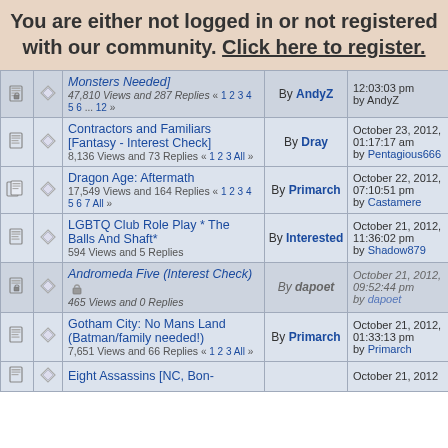You are either not logged in or not registered with our community. Click here to register.
|  |  | Topic | By | Date |
| --- | --- | --- | --- | --- |
| [icon] | [icon] | Monsters Needed] 47,810 Views and 287 Replies « 1 2 3 4 5 6 ... 12 » | By AndyZ | 12:03:03 pm by AndyZ |
| [icon] | [icon] | Contractors and Familiars [Fantasy - Interest Check] 8,136 Views and 73 Replies « 1 2 3 All » | By Dray | October 23, 2012, 01:17:17 am by Pentagious666 |
| [icon] | [icon] | Dragon Age: Aftermath 17,549 Views and 164 Replies « 1 2 3 4 5 6 7 All » | By Primarch | October 22, 2012, 07:10:51 pm by Castamere |
| [icon] | [icon] | LGBTQ Club Role Play * The Balls And Shaft* 594 Views and 5 Replies | By Interested | October 21, 2012, 11:36:02 pm by Shadow879 |
| [icon] | [icon] | Andromeda Five (Interest Check) [locked] 465 Views and 0 Replies | By dapoet | October 21, 2012, 09:52:44 pm by dapoet |
| [icon] | [icon] | Gotham City: No Mans Land (Batman/family needed!) 7,651 Views and 66 Replies « 1 2 3 All » | By Primarch | October 21, 2012, 01:33:13 pm by Primarch |
| [icon] | [icon] | Eight Assassins [NC, Bon-...] |  | October 21, 2012 |